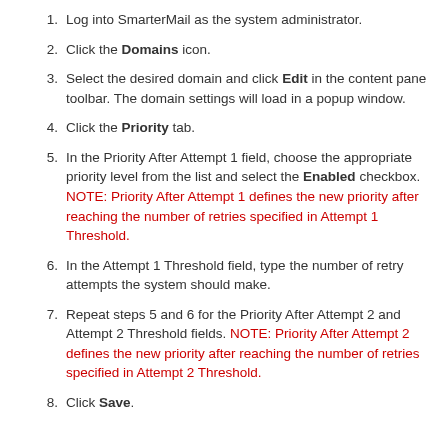Log into SmarterMail as the system administrator.
Click the Domains icon.
Select the desired domain and click Edit in the content pane toolbar. The domain settings will load in a popup window.
Click the Priority tab.
In the Priority After Attempt 1 field, choose the appropriate priority level from the list and select the Enabled checkbox. NOTE: Priority After Attempt 1 defines the new priority after reaching the number of retries specified in Attempt 1 Threshold.
In the Attempt 1 Threshold field, type the number of retry attempts the system should make.
Repeat steps 5 and 6 for the Priority After Attempt 2 and Attempt 2 Threshold fields. NOTE: Priority After Attempt 2 defines the new priority after reaching the number of retries specified in Attempt 2 Threshold.
Click Save.